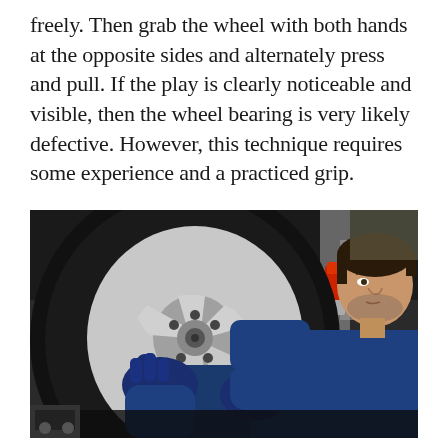freely. Then grab the wheel with both hands at the opposite sides and alternately press and pull. If the play is clearly noticeable and visible, then the wheel bearing is very likely defective. However, this technique requires some experience and a practiced grip.
[Figure (photo): A mechanic in a blue uniform and dark blue gloves gripping a silver alloy wheel/tire mounted on a vehicle lifted on a hydraulic jack, inspecting it for play. The mechanic is looking up at the wheel from below.]